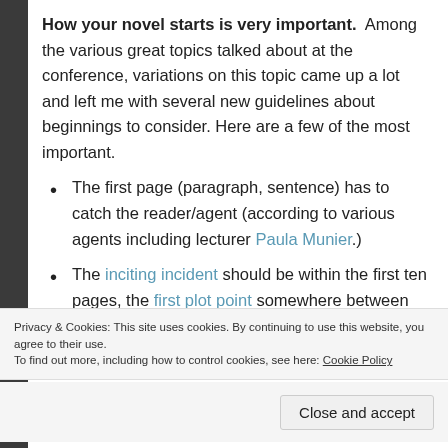How your novel starts is very important. Among the various great topics talked about at the conference, variations on this topic came up a lot and left me with several new guidelines about beginnings to consider. Here are a few of the most important.
The first page (paragraph, sentence) has to catch the reader/agent (according to various agents including lecturer Paula Munier.)
The inciting incident should be within the first ten pages, the first plot point somewhere between 16% and 24% of the way into the story
Privacy & Cookies: This site uses cookies. By continuing to use this website, you agree to their use.
To find out more, including how to control cookies, see here: Cookie Policy
can do it in a fresh new way)–rather, start with